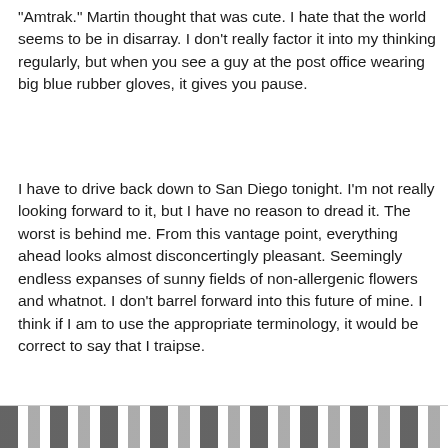"Amtrak." Martin thought that was cute. I hate that the world seems to be in disarray. I don't really factor it into my thinking regularly, but when you see a guy at the post office wearing big blue rubber gloves, it gives you pause.
I have to drive back down to San Diego tonight. I'm not really looking forward to it, but I have no reason to dread it. The worst is behind me. From this vantage point, everything ahead looks almost disconcertingly pleasant. Seemingly endless expanses of sunny fields of non-allergenic flowers and whatnot. I don't barrel forward into this future of mine. I think if I am to use the appropriate terminology, it would be correct to say that I traipse.
Mary Forrest at 6:27 PM
No comments:
Post a Comment
[Figure (photo): Partial view of a black and white patterned image at the bottom of the page]